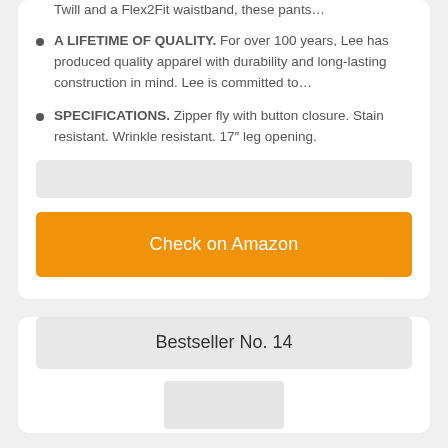Twill and a Flex2Fit waistband, these pants…
A LIFETIME OF QUALITY. For over 100 years, Lee has produced quality apparel with durability and long-lasting construction in mind. Lee is committed to…
SPECIFICATIONS. Zipper fly with button closure. Stain resistant. Wrinkle resistant. 17″ leg opening.
Check on Amazon
Bestseller No. 14